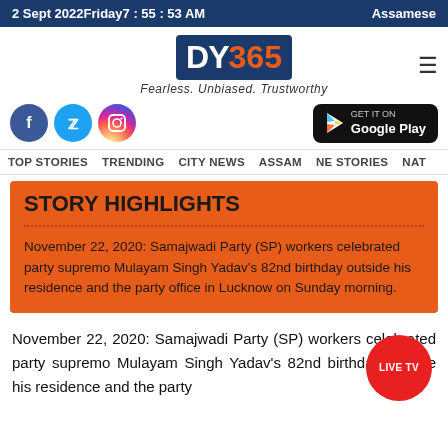2 Sept 2022 Friday 7 : 55 : 53 AM   Assamese
[Figure (logo): DY365 logo with tagline Fearless. Unbiased. Trustworthy]
[Figure (infographic): Social media icons (Facebook, Twitter, Instagram) and Google Play button]
TOP STORIES   TRENDING   CITY NEWS   ASSAM   NE STORIES   NAT
STORY HIGHLIGHTS
November 22, 2020: Samajwadi Party (SP) workers celebrated party supremo Mulayam Singh Yadav's 82nd birthday outside his residence and the party office in Lucknow on Sunday morning.
November 22, 2020: Samajwadi Party (SP) workers celebrated party supremo Mulayam Singh Yadav's 82nd birthday outside his residence and the party office in Lucknow on Sunday morning.